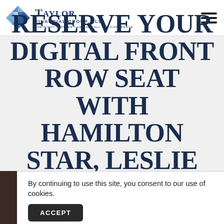[Figure (logo): Taylor Financial Group LLC logo with geometric blue diamond mosaic icon and company name]
RESERVE YOUR DIGITAL FRONT ROW SEAT WITH HAMILTON STAR, LESLIE ODOM, JR.!
By continuing to use this site, you consent to our use of cookies.